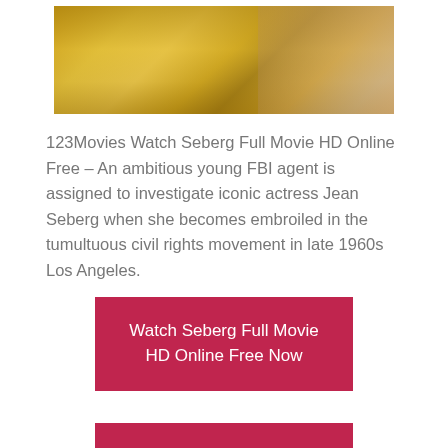[Figure (photo): Screenshot from a movie showing a woman in a yellow outfit, possibly at a table with glass objects, mirrored or reflected image.]
123Movies Watch Seberg Full Movie HD Online Free – An ambitious young FBI agent is assigned to investigate iconic actress Jean Seberg when she becomes embroiled in the tumultuous civil rights movement in late 1960s Los Angeles.
Watch Seberg Full Movie HD Online Free Now
Watch Seberg Full Movie HD Online Free Now